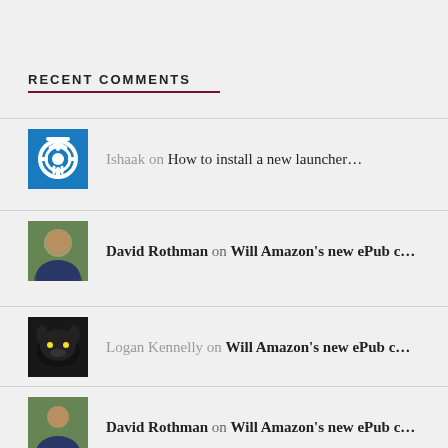RECENT COMMENTS
Ishaak on How to install a new launcher…
David Rothman on Will Amazon's new ePub c…
Logan Kennelly on Will Amazon's new ePub c…
David Rothman on Will Amazon's new ePub c…
Logan Kennelly on Will Amazon's new ePub c…